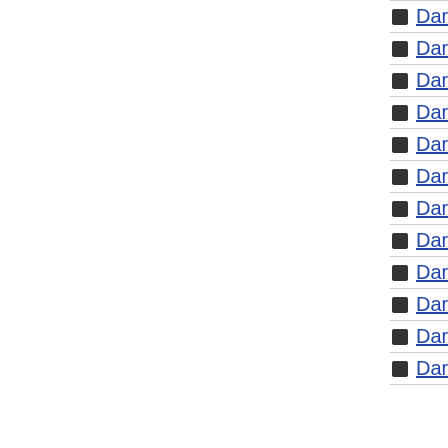Dark General Freed (SCR) LODT-EN083 (1st Edition)
Dark Grepher (SCR) PTDN-EN000 (1st Edition)
Dark Horus (UTR) PTDN-EN016 (Unlimited Edition)
Dark Hunter (UTR) TDGS-EN033 (Unlimited Edition)
Dark Jeroid (R) PGD-056 (Unlimited Edition)
Dark King of the Abyss (C) LOB-020 (Unlimited Edition)
Dark Magician (C) SD6-EN003 (1st Edition)
Dark Magician Girl (SCR) CT2-EN004 (Limited Edition)
Dark Magician Knight (PR) ROD-EN001 (Limited Edition)
Dark Magician of Chaos (UR) IOC-065 (Unlimited Edition)
Dark Master - Zorc (SR) DCR-082 (Unlimited Edition)
Dark Mimic LV1 (C) SOD-EN009 (1st Edition)